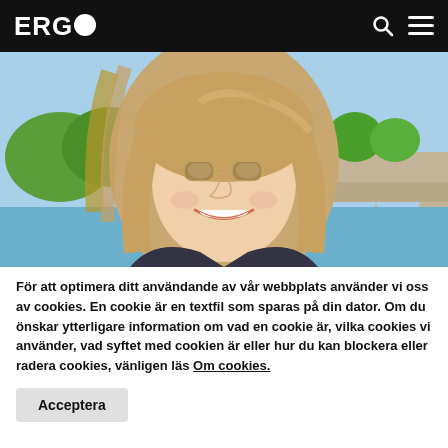ERGO
[Figure (photo): Photo of a smiling young woman with blonde hair and round sunglasses, outdoors with a river, bridge, and green trees in the background on a sunny day.]
För att optimera ditt användande av vår webbplats använder vi oss av cookies. En cookie är en textfil som sparas på din dator. Om du önskar ytterligare information om vad en cookie är, vilka cookies vi använder, vad syftet med cookien är eller hur du kan blockera eller radera cookies, vänligen läs Om cookies.
Acceptera